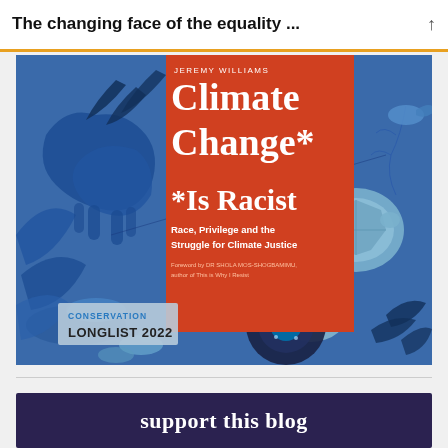The changing face of the equality ...
[Figure (illustration): Book cover of 'Climate Change* Is Racist' by Jeremy Williams. Blue illustrated background featuring animals (leopard, sea turtles, birds, fish) and tropical plants in shades of blue. Central red panel with white title text. Conservation Longlist 2022 badge in bottom left.]
support this blog